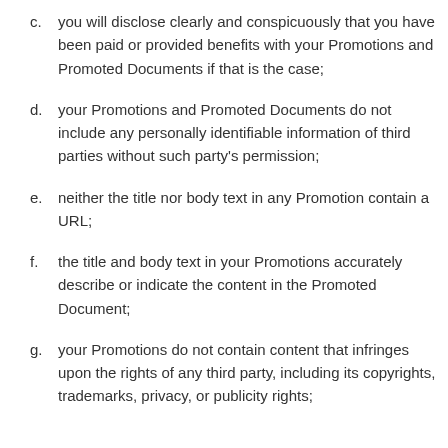c. you will disclose clearly and conspicuously that you have been paid or provided benefits with your Promotions and Promoted Documents if that is the case;
d. your Promotions and Promoted Documents do not include any personally identifiable information of third parties without such party's permission;
e. neither the title nor body text in any Promotion contain a URL;
f. the title and body text in your Promotions accurately describe or indicate the content in the Promoted Document;
g. your Promotions do not contain content that infringes upon the rights of any third party, including its copyrights, trademarks, privacy, or publicity rights;